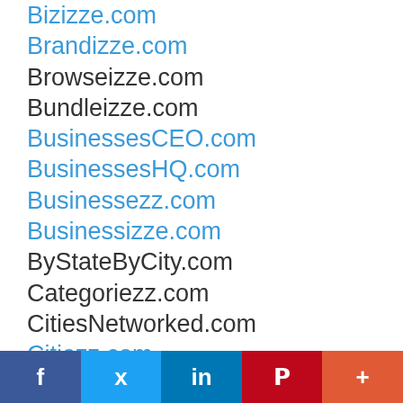Bizizze.com
Brandizze.com
Browseizze.com
Bundleizze.com
BusinessesCEO.com
BusinessesHQ.com
Businessezz.com
Businessizze.com
ByStateByCity.com
Categoriezz.com
CitiesNetworked.com
Citiezz.com
CityAdvertised.com
CityAnnounced.com
CityBrowsed.com
CityBundled.com
CityCategories.com